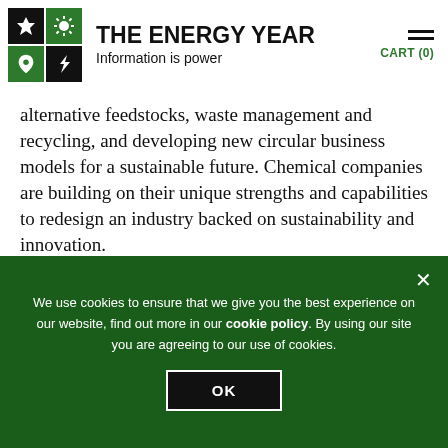THE ENERGY YEAR — Information is power
alternative feedstocks, waste management and recycling, and developing new circular business models for a sustainable future. Chemical companies are building on their unique strengths and capabilities to redesign an industry backed on sustainability and innovation. The 15th Annual GPCA Forum will take place
We use cookies to ensure that we give you the best experience on our website, find out more in our cookie policy. By using our site you are agreeing to our use of cookies.